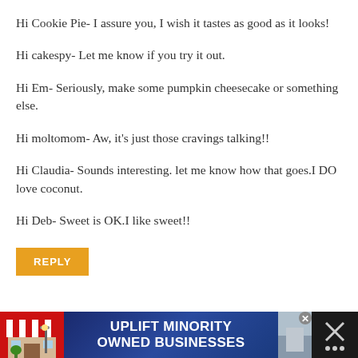Hi Cookie Pie- I assure you, I wish it tastes as good as it looks!
Hi cakespy- Let me know if you try it out.
Hi Em- Seriously, make some pumpkin cheesecake or something else.
Hi moltomom- Aw, it's just those cravings talking!!
Hi Claudia- Sounds interesting. let me know how that goes.I DO love coconut.
Hi Deb- Sweet is OK.I like sweet!!
REPLY
[Figure (screenshot): Advertisement banner at bottom: 'UPLIFT MINORITY OWNED BUSINESSES' with storefront graphic on dark background]